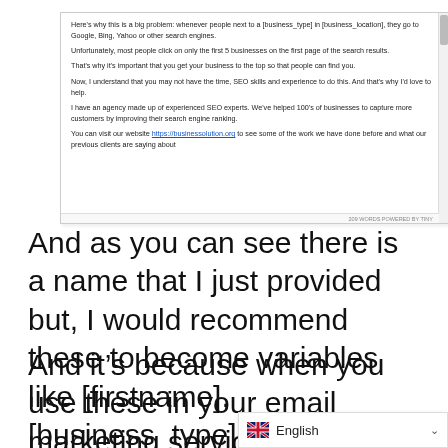[Figure (screenshot): Screenshot of a text editor showing an SEO cold email template with placeholder variables like [business_type], [business_location], [firstname]. Contains paragraphs about search engine visibility, clicking first 5 businesses, and an agency offering SEO services. Footer shows '209 WORDS POWERED BY TINY'.]
And as you can see there is a name that I just provided but, I would recommend these to become variables like [firstname], [business_type], etc.
And it's because when you use these in your email marketing service, it's going to grab the variable, for example, full name, first name, and last name and we can use these variables, so we